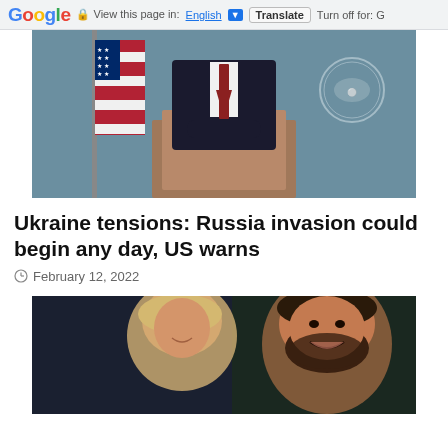Google  View this page in: English [▼]  Translate  Turn off for: G
[Figure (photo): A man in a dark suit with a red tie stands at a lectern in what appears to be the White House briefing room. An American flag is visible on the left. The White House seal is on the wall to the right.]
Ukraine tensions: Russia invasion could begin any day, US warns
February 12, 2022
[Figure (photo): A close-up photo showing a blonde woman and a bearded man smiling, partially cropped at the bottom of the page.]